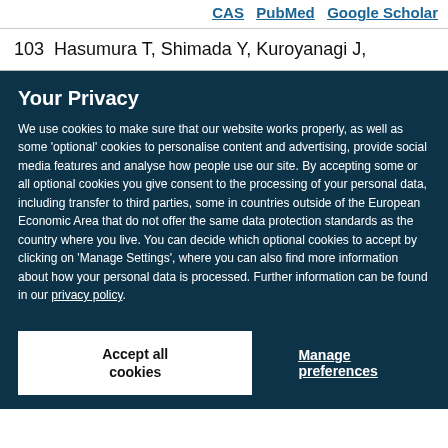CAS   PubMed   Google Scholar
103  Hasumura T, Shimada Y, Kuroyanagi J,
Your Privacy
We use cookies to make sure that our website works properly, as well as some ‘optional’ cookies to personalise content and advertising, provide social media features and analyse how people use our site. By accepting some or all optional cookies you give consent to the processing of your personal data, including transfer to third parties, some in countries outside of the European Economic Area that do not offer the same data protection standards as the country where you live. You can decide which optional cookies to accept by clicking on ‘Manage Settings’, where you can also find more information about how your personal data is processed. Further information can be found in our privacy policy.
Accept all cookies
Manage preferences